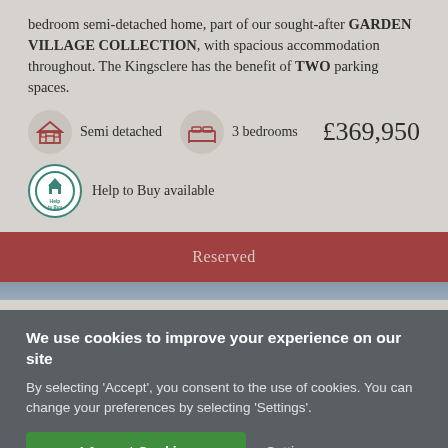bedroom semi-detached home, part of our sought-after GARDEN VILLAGE COLLECTION, with spacious accommodation throughout. The Kingsclere has the benefit of TWO parking spaces.
Semi detached   3 bedrooms   £369,950
Help to Buy available
Reserved
We use cookies to improve your experience on our site
By selecting 'Accept', you consent to the use of cookies. You can change your preferences by selecting 'Settings'.
I Accept Cookies   Settings